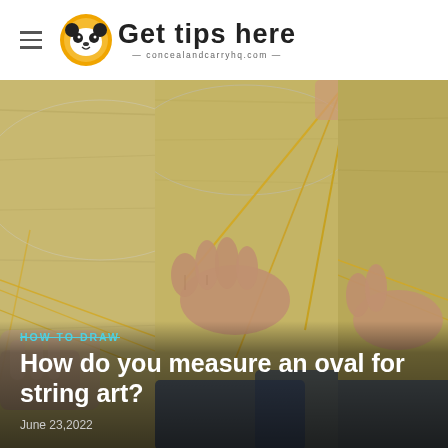Get tips here — concealandcarryhq.com
[Figure (photo): Three-panel photo showing hands working with string and nails on a wooden board to create string art oval shapes. Left and right panels show blurred/cropped versions of the same scene. Center panel shows a close-up of hands pulling golden string taut across a board with metal washers as anchors.]
HOW TO DRAW
How do you measure an oval for string art?
June 23,2022